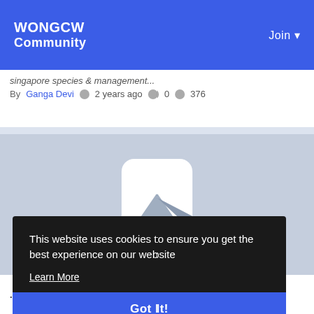WONGCW Community  Join
singapore species & management...
By Ganga Devi  2 years ago  0  376
[Figure (illustration): Placeholder image with mountain/image icon in grey tones]
This website uses cookies to ensure you get the best experience on our website
Learn More
Got It!
...ong  By Kin Gang  2 years ago  0  283